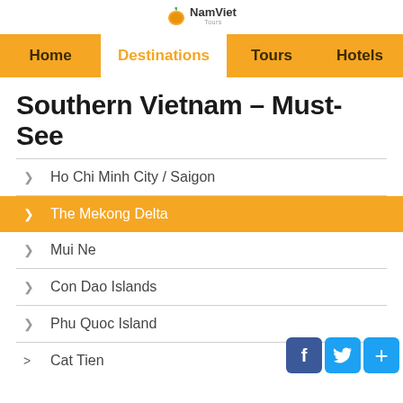NamViet Tours
Home | Destinations | Tours | Hotels
Southern Vietnam – Must-See
Ho Chi Minh City / Saigon
The Mekong Delta
Mui Ne
Con Dao Islands
Phu Quoc Island
Cat Tien